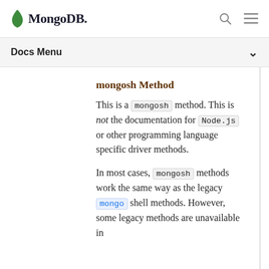MongoDB
Docs Menu
mongosh Method
This is a mongosh method. This is not the documentation for Node.js or other programming language specific driver methods.
In most cases, mongosh methods work the same way as the legacy mongo shell methods. However, some legacy methods are unavailable in